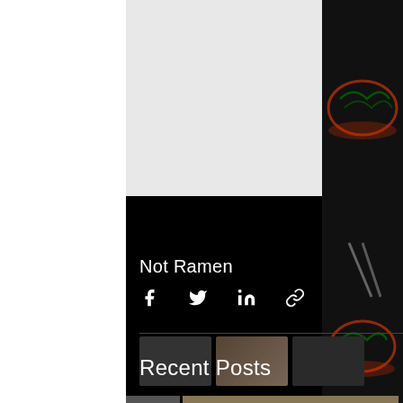[Figure (photo): Light gray placeholder image area in the upper portion of the page]
Not Ramen
[Figure (infographic): Social share icons: Facebook, Twitter, LinkedIn, and link/chain icon]
Recent Posts
[Figure (photo): Partial food photograph thumbnails visible at the bottom of the page]
[Figure (photo): Right side strip showing decorative ramen bowl illustrations on dark background]